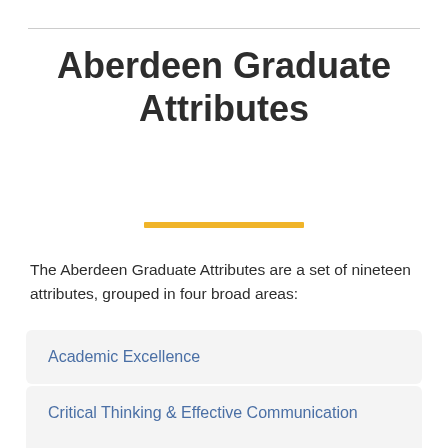Aberdeen Graduate Attributes
The Aberdeen Graduate Attributes are a set of nineteen attributes, grouped in four broad areas:
Academic Excellence
Critical Thinking & Effective Communication